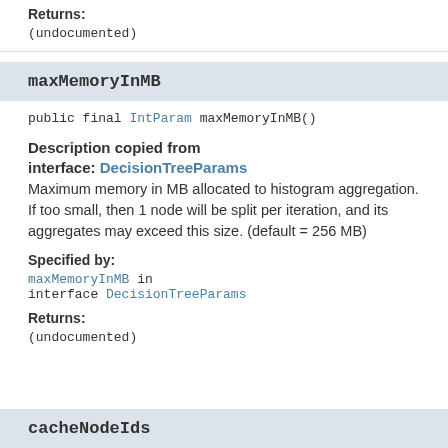Returns:
(undocumented)
maxMemoryInMB
public final IntParam maxMemoryInMB()
Description copied from interface: DecisionTreeParams
Maximum memory in MB allocated to histogram aggregation. If too small, then 1 node will be split per iteration, and its aggregates may exceed this size. (default = 256 MB)
Specified by:
maxMemoryInMB in interface DecisionTreeParams
Returns:
(undocumented)
cacheNodeIds